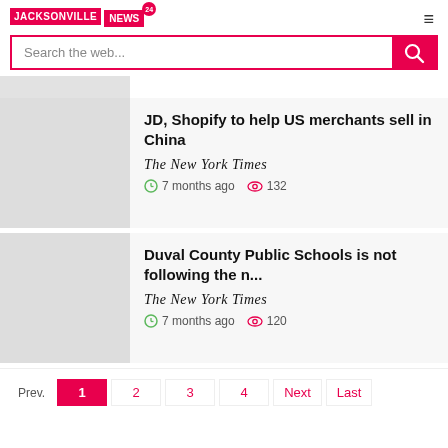JACKSONVILLE NEWS 24
Search the web...
JD, Shopify to help US merchants sell in China
The New York Times · 7 months ago · 132 views
Duval County Public Schools is not following the n...
The New York Times · 7 months ago · 120 views
Prev. 1 2 3 4 Next Last